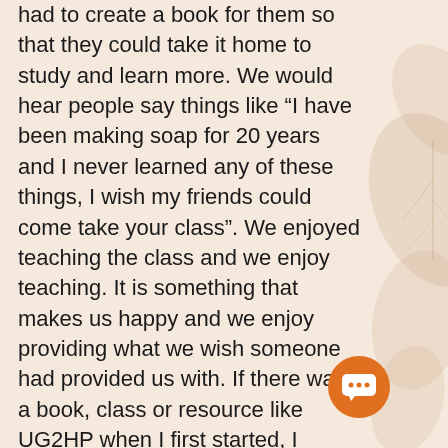had to create a book for them so that they could take it home to study and learn more. We would hear people say things like “I have been making soap for 20 years and I never learned any of these things, I wish my friends could come take your class”. We enjoyed teaching the class and we enjoy teaching. It is something that makes us happy and we enjoy providing what we wish someone had provided us with. If there was a book, class or resource like UG2HP when I first started, I would have bought it immediately. I didn’t learn how to do things the right way until I was thousands of dollars in, with tons of soap that was not so good, and of wasted time and frustration.
[Figure (illustration): Decorative floral/leaf watermark on the right side of the page]
[Figure (illustration): Orange circular chat button with speech bubble icon containing three dots]